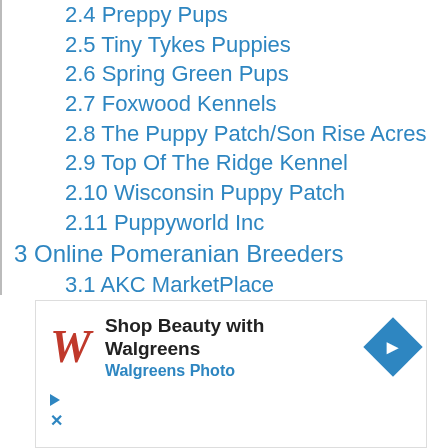2.4 Preppy Pups
2.5 Tiny Tykes Puppies
2.6 Spring Green Pups
2.7 Foxwood Kennels
2.8 The Puppy Patch/Son Rise Acres
2.9 Top Of The Ridge Kennel
2.10 Wisconsin Puppy Patch
2.11 Puppyworld Inc
3 Online Pomeranian Breeders
3.1 AKC MarketPlace
3.2 Adopt A Pet
3.3 Puppies For Sale Today
[Figure (screenshot): Walgreens advertisement banner: Shop Beauty with Walgreens, Walgreens Photo]